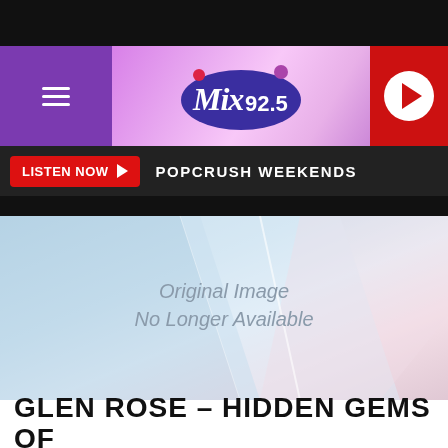[Figure (logo): Mix 92.5 radio station logo on pink/purple banner with hamburger menu and red play button]
LISTEN NOW  POPCRUSH WEEKENDS
[Figure (photo): Original Image No Longer Available placeholder image with light blue, white and pink gradient geometric shapes]
GLEN ROSE – HIDDEN GEMS OF